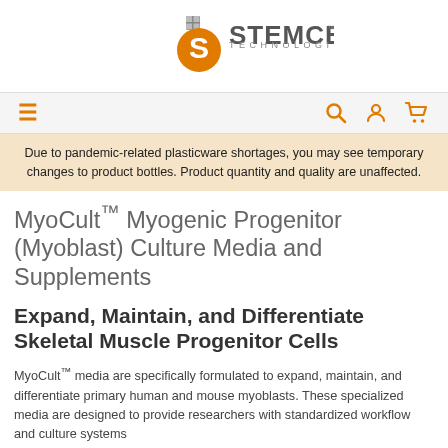[Figure (logo): STEMCELL Technologies logo with orange circular S icon and grid square icon above the company name]
Navigation bar with hamburger menu icon and search, account, cart icons
Due to pandemic-related plasticware shortages, you may see temporary changes to product bottles. Product quantity and quality are unaffected.
MyoCult™ Myogenic Progenitor (Myoblast) Culture Media and Supplements
Expand, Maintain, and Differentiate Skeletal Muscle Progenitor Cells
MyoCult™ media are specifically formulated to expand, maintain, and differentiate primary human and mouse myoblasts. These specialized media are designed to provide researchers with standardized workflow and culture systems